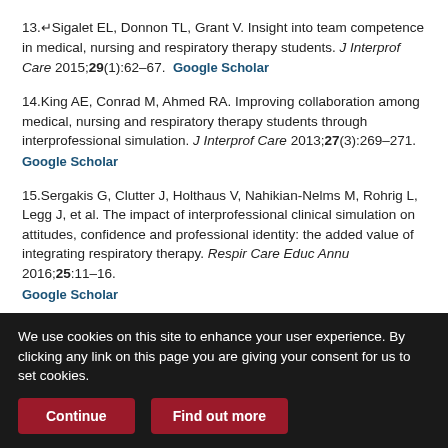13. Sigalet EL, Donnon TL, Grant V. Insight into team competence in medical, nursing and respiratory therapy students. J Interprof Care 2015;29(1):62–67. Google Scholar
14. King AE, Conrad M, Ahmed RA. Improving collaboration among medical, nursing and respiratory therapy students through interprofessional simulation. J Interprof Care 2013;27(3):269–271. Google Scholar
15. Sergakis G, Clutter J, Holthaus V, Nahikian-Nelms M, Rohrig L, Legg J, et al. The impact of interprofessional clinical simulation on attitudes, confidence and professional identity: the added value of integrating respiratory therapy. Respir Care Educ Annu 2016;25:11–16. Google Scholar
16. King J, Beanlands S, Fiset V, Chartrand L, Clarke S, Findlay T, et al.
We use cookies on this site to enhance your user experience. By clicking any link on this page you are giving your consent for us to set cookies.